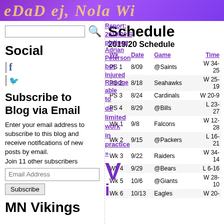Dead of Nola Wi...
Social
Subscribe to Blog via Email
Enter your email address to subscribe to this blog and receive notifications of new posts by email. Join 11 other subscribers
Schedule
2019/20 Schedule
| Wk | Date | Game | Time |
| --- | --- | --- | --- |
| PS 1 | 8/09 | @Saints | W 34-25 |
| PS 2 | 8/18 | Seahawks | W 25-19 |
| PS 3 | 8/24 | Cardinals | W 20-9 |
| PS 4 | 8/29 | @Bills | L 23-27 |
| Wk 1 | 9/8 | Falcons | W 12-28 |
| Wk 2 | 9/15 | @Packers | L 16-21 |
| Wk 3 | 9/22 | Raiders | W 34-14 |
| Wk 4 | 9/29 | @Bears | L 6-16 |
| Wk 5 | 10/6 | @Giants | W 28-10 |
| Wk 6 | 10/13 | Eagles | W 20- |
MN Vikings